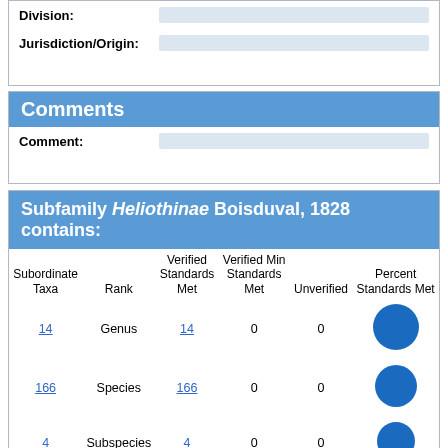| Division: |  |
| --- | --- |
| Jurisdiction/Origin: |  |
Comments
| Comment: |  |
| --- | --- |
Subfamily Heliothinae Boisduval, 1828 contains:
| Subordinate Taxa | Rank | Verified Standards Met | Verified Min Standards Met | Unverified | Percent Standards Met |
| --- | --- | --- | --- | --- | --- |
| 14 | Genus | 14 | 0 | 0 | ● |
| 166 | Species | 166 | 0 | 0 | ● |
| 4 | Subspecies | 4 | 0 | 0 | ● |
| 184 | ALL | 184 | 0 | 0 | ● |